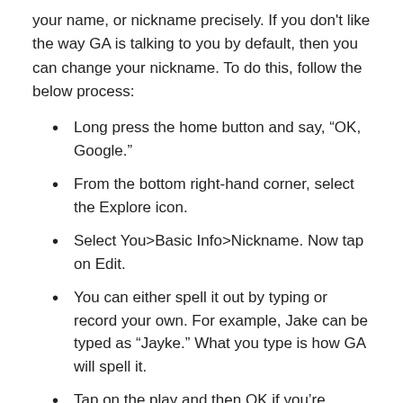your name, or nickname precisely. If you don't like the way GA is talking to you by default, then you can change your nickname. To do this, follow the below process:
Long press the home button and say, “OK, Google.”
From the bottom right-hand corner, select the Explore icon.
Select You>Basic Info>Nickname. Now tap on Edit.
You can either spell it out by typing or record your own. For example, Jake can be typed as “Jayke.” What you type is how GA will spell it.
Tap on the play and then OK if you’re satisfied with it.
How to Change Google Assistant’s Voice